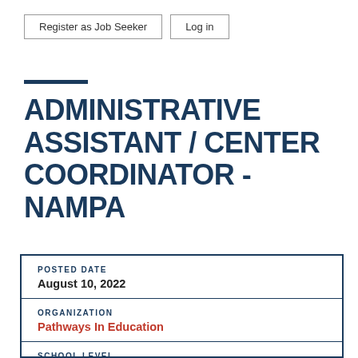Register as Job Seeker   Log in
ADMINISTRATIVE ASSISTANT / CENTER COORDINATOR - NAMPA
| POSTED DATE | August 10, 2022 |
| ORGANIZATION | Pathways In Education |
| SCHOOL LEVEL | High School |